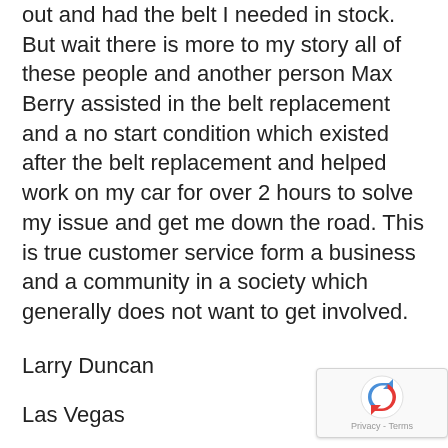out and had the belt I needed in stock. But wait there is more to my story all of these people and another person Max Berry assisted in the belt replacement and a no start condition which existed after the belt replacement and helped work on my car for over 2 hours to solve my issue and get me down the road. This is true customer service form a business and a community in a society which generally does not want to get involved.
Larry Duncan
Las Vegas
Dear Editor,
I can remember capturing Desert Bighorns in th...